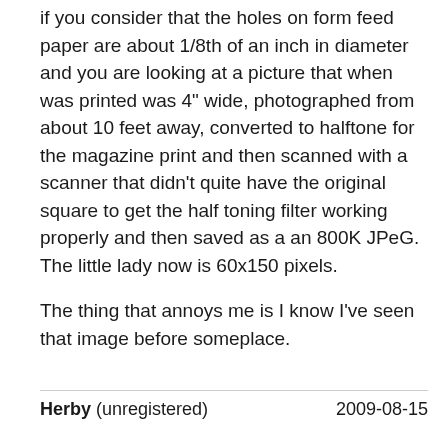if you consider that the holes on form feed paper are about 1/8th of an inch in diameter and you are looking at a picture that when was printed was 4" wide, photographed from about 10 feet away, converted to halftone for the magazine print and then scanned with a scanner that didn't quite have the original square to get the half toning filter working properly and then saved as a an 800K JPeG. The little lady now is 60x150 pixels.

The thing that annoys me is I know I've seen that image before someplace.
Herby (unregistered)    2009-08-15